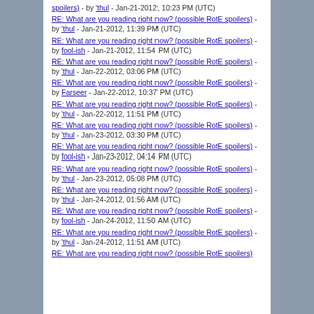spoilers) - by 'thul - Jan-21-2012, 10:23 PM (UTC)
RE: What are you reading right now? (possible RotE spoilers) - by 'thul - Jan-21-2012, 11:39 PM (UTC)
RE: What are you reading right now? (possible RotE spoilers) - by fool-ish - Jan-21-2012, 11:54 PM (UTC)
RE: What are you reading right now? (possible RotE spoilers) - by 'thul - Jan-22-2012, 03:06 PM (UTC)
RE: What are you reading right now? (possible RotE spoilers) - by Farseer - Jan-22-2012, 10:37 PM (UTC)
RE: What are you reading right now? (possible RotE spoilers) - by 'thul - Jan-22-2012, 11:51 PM (UTC)
RE: What are you reading right now? (possible RotE spoilers) - by 'thul - Jan-23-2012, 03:30 PM (UTC)
RE: What are you reading right now? (possible RotE spoilers) - by fool-ish - Jan-23-2012, 04:14 PM (UTC)
RE: What are you reading right now? (possible RotE spoilers) - by 'thul - Jan-23-2012, 05:08 PM (UTC)
RE: What are you reading right now? (possible RotE spoilers) - by 'thul - Jan-24-2012, 01:56 AM (UTC)
RE: What are you reading right now? (possible RotE spoilers) - by fool-ish - Jan-24-2012, 11:50 AM (UTC)
RE: What are you reading right now? (possible RotE spoilers) - by 'thul - Jan-24-2012, 11:51 AM (UTC)
RE: What are you reading right now? (possible RotE spoilers)